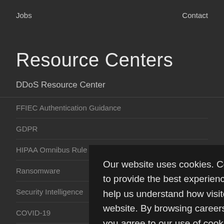Jobs    Contact
Resource Centers
DDoS Resource Center
FFIEC Authentication Guidance
GDPR
HIPAA Omnibus Rule
Ransomware
Security Intelligence
COVID-19
Our website uses cookies. Cookies enable us to provide the best experience possible and help us understand how visitors use our website. By browsing careersinfosecurity.asia, you agree to our use of cookies.